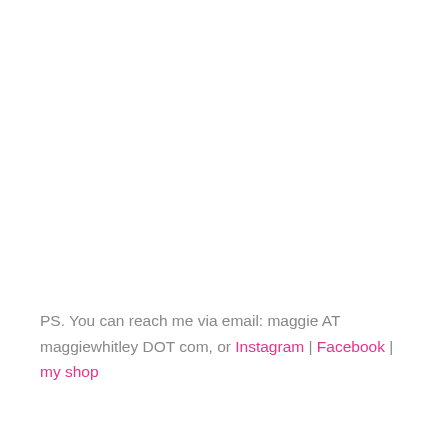PS. You can reach me via email: maggie AT maggiewhitley DOT com, or Instagram | Facebook | my shop